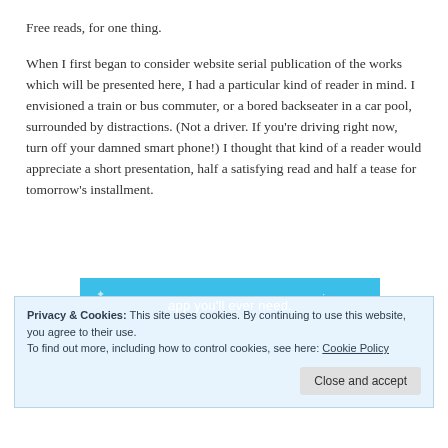Free reads, for one thing.
When I first began to consider website serial publication of the works which will be presented here, I had a particular kind of reader in mind. I envisioned a train or bus commuter, or a bored backseater in a car pool, surrounded by distractions. (Not a driver. If you’re driving right now, turn off your damned smart phone!) I thought that kind of a reader would appreciate a short presentation, half a satisfying read and half a tease for tomorrow’s installment.
[Figure (screenshot): Blue advertisement banner with white text reading 'app you’ll ever need.' with decorative stars and a dark button below]
Privacy & Cookies: This site uses cookies. By continuing to use this website, you agree to their use.
To find out more, including how to control cookies, see here: Cookie Policy
Close and accept